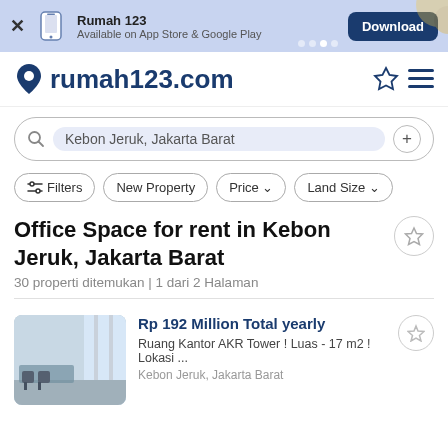[Figure (screenshot): App banner with Rumah 123 logo, 'Available on App Store & Google Play', and Download button on blue background]
rumah123.com
Kebon Jeruk, Jakarta Barat
Filters | New Property | Price | Land Size
Office Space for rent in Kebon Jeruk, Jakarta Barat
30 properti ditemukan | 1 dari 2 Halaman
[Figure (photo): Interior photo of an office space with windows and chairs]
Rp 192 Million Total yearly
Ruang Kantor AKR Tower ! Luas - 17 m2 ! Lokasi ...
Kebon Jeruk, Jakarta Barat